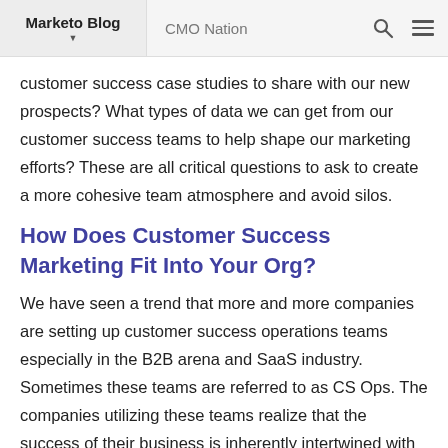Marketo Blog | CMO Nation
customer success case studies to share with our new prospects? What types of data we can get from our customer success teams to help shape our marketing efforts? These are all critical questions to ask to create a more cohesive team atmosphere and avoid silos.
How Does Customer Success Marketing Fit Into Your Org?
We have seen a trend that more and more companies are setting up customer success operations teams especially in the B2B arena and SaaS industry. Sometimes these teams are referred to as CS Ops. The companies utilizing these teams realize that the success of their business is inherently intertwined with the success of their customers. Their CS Ops